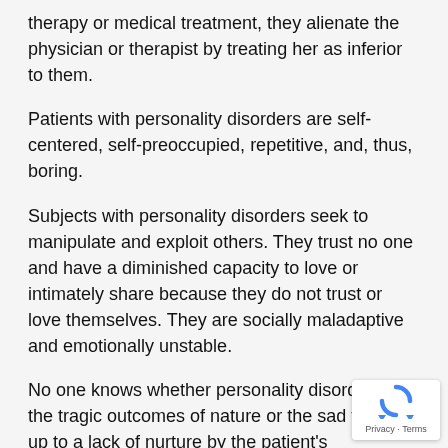therapy or medical treatment, they alienate the physician or therapist by treating her as inferior to them.
Patients with personality disorders are self-centered, self-preoccupied, repetitive, and, thus, boring.
Subjects with personality disorders seek to manipulate and exploit others. They trust no one and have a diminished capacity to love or intimately share because they do not trust or love themselves. They are socially maladaptive and emotionally unstable.
No one knows whether personality disorders are the tragic outcomes of nature or the sad follow-up to a lack of nurture by the patient's environment.
Generally speaking, though, most personality disorders start out in childhood and early adolescence as me problems in personal development. Exacerbated b repeated abuse and rejection, they then become ful-